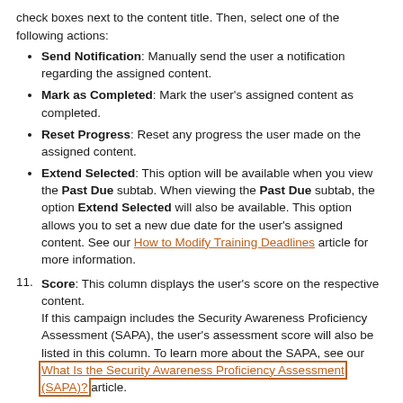check boxes next to the content title. Then, select one of the following actions:
Send Notification: Manually send the user a notification regarding the assigned content.
Mark as Completed: Mark the user's assigned content as completed.
Reset Progress: Reset any progress the user made on the assigned content.
Extend Selected: This option will be available when you view the Past Due subtab. When viewing the Past Due subtab, the option Extend Selected will also be available. This option allows you to set a new due date for the user's assigned content. See our How to Modify Training Deadlines article for more information.
11. Score: This column displays the user's score on the respective content. If this campaign includes the Security Awareness Proficiency Assessment (SAPA), the user's assessment score will also be listed in this column. To learn more about the SAPA, see our What Is the Security Awareness Proficiency Assessment (SAPA)? article.